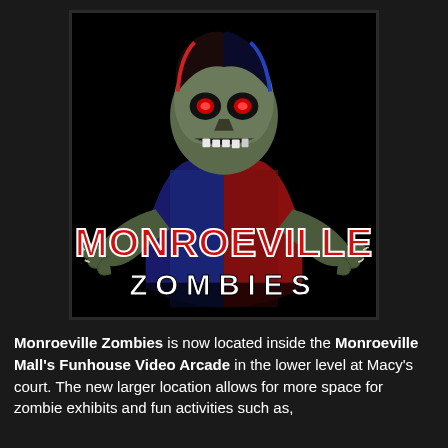[Figure (illustration): Monroeville Zombies logo: a zombie character with skull face, red and blue striped shirt, clawing forward, over a black background. Large text reads 'MONROEVILLE' in red with white outline, and 'ZOMBIES' in white spaced letters below.]
Monroeville Zombies is now located inside the Monroeville Mall's Funhouse Video Arcade in the lower level at Macy's court. The new larger location allows for more space for zombie exhibits and fun activities such as,